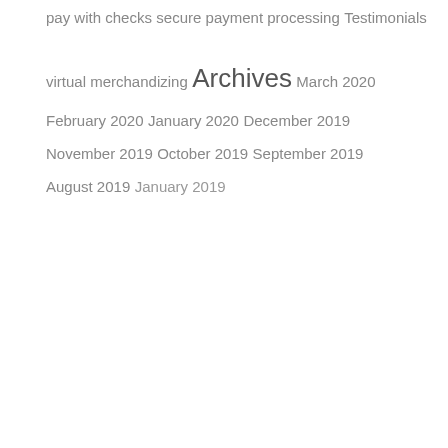pay with checks
secure payment processing
Testimonials
virtual merchandizing
Archives
March 2020
February 2020
January 2020
December 2019
November 2019
October 2019
September 2019
August 2019
January 2019